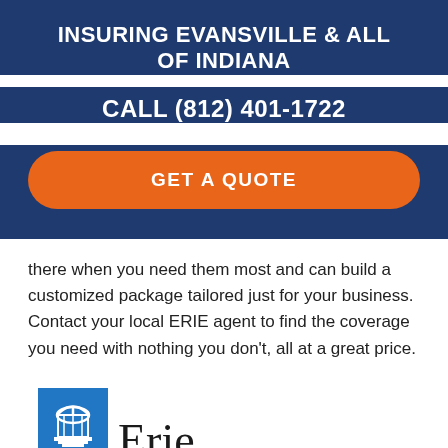INSURING EVANSVILLE & ALL OF INDIANA
CALL (812) 401-1722
GET A QUOTE
there when you need them most and can build a customized package tailored just for your business. Contact your local ERIE agent to find the coverage you need with nothing you don't, all at a great price.
[Figure (logo): Erie Insurance logo with blue building icon and 'Erie' text in serif font]